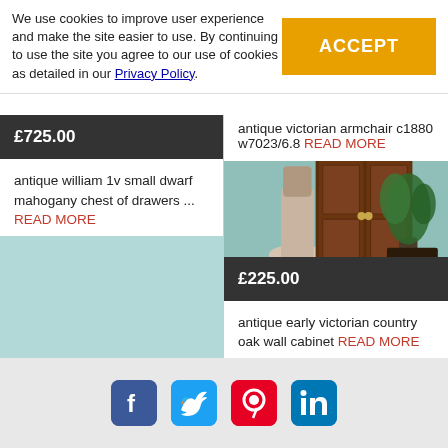We use cookies to improve user experience and make the site easier to use. By continuing to use the site you agree to our use of cookies as detailed in our Privacy Policy.
ACCEPT
antique victorian armchair c1880 w7023/6.8 READ MORE
£725.00
antique william 1v small dwarf mahogany chest of drawers ... READ MORE
[Figure (photo): Photo of an antique dark wooden wall cabinet with two doors and brass handles, positioned next to an antique Victorian chair, against a mint green wall with a plant and 'Antiques' sign.]
£225.00
antique early victorian country oak wall cabinet READ MORE
[Figure (infographic): Social media icons: Facebook, Twitter, Pinterest, LinkedIn]